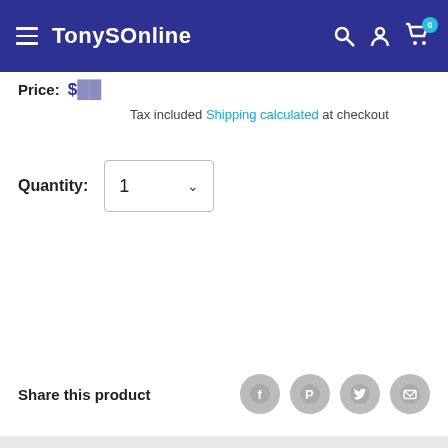TonysSOnline
Price: $[price] Tax included Shipping calculated at checkout
Quantity: 1
Add to cart
Add to Quote
Share this product